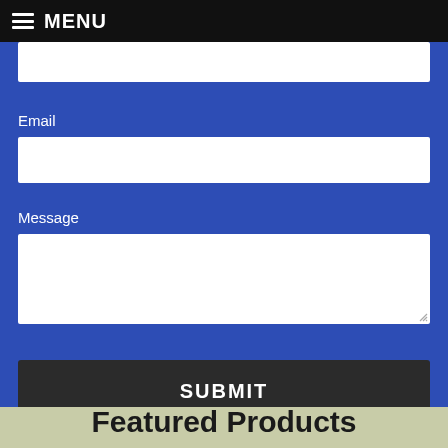MENU
Email
Message
SUBMIT
Featured Products